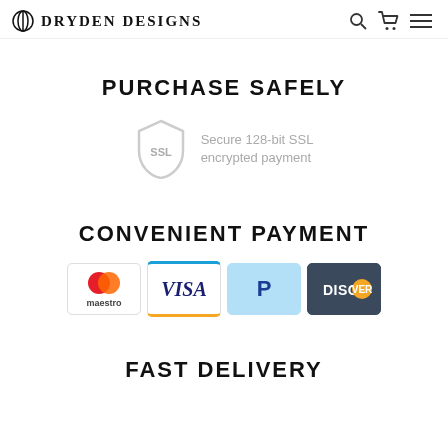DRYDEN DESIGNS
PURCHASE SAFELY
[Figure (illustration): SSL shield icon with text: Secure 128-bit SSL encrypted payment]
CONVENIENT PAYMENT
[Figure (illustration): Payment method logos: Maestro, VISA, PayPal, Discover]
FAST DELIVERY